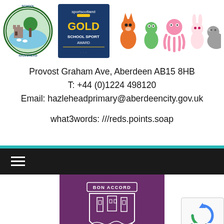[Figure (logo): Three logos in header: Hazlehead School crest (circular badge with castle and swans), Sport Scotland Gold School Sport Award badge (blue and gold), and cartoon animal mascots (fox, frog, octopus, rabbit, rhino)]
Provost Graham Ave, Aberdeen AB15 8HB
T: +44 (0)1224 498120
Email: hazleheadprimary@aberdeencity.gov.uk
what3words: ///reds.points.soap
[Figure (other): Teal horizontal divider bar]
[Figure (other): Black navigation bar with hamburger menu icon (three white lines)]
[Figure (other): Purple box containing Bon Accord crest/heraldic emblem in white outline, partially visible at bottom of page. reCAPTCHA widget visible in bottom right corner with 'Privacy · Terms' text.]